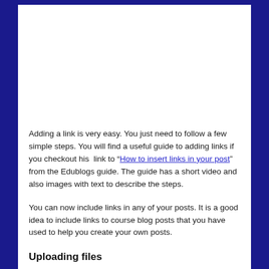Adding a link is very easy. You just need to follow a few simple steps. You will find a useful guide to adding links if you checkout his  link to “How to insert links in your post” from the Edublogs guide. The guide has a short video and also images with text to describe the steps.
You can now include links in any of your posts. It is a good idea to include links to course blog posts that you have used to help you create your own posts.
Uploading files
Later we will look at adding images to your posts. However the first thing we will ask you to add to a post is the second